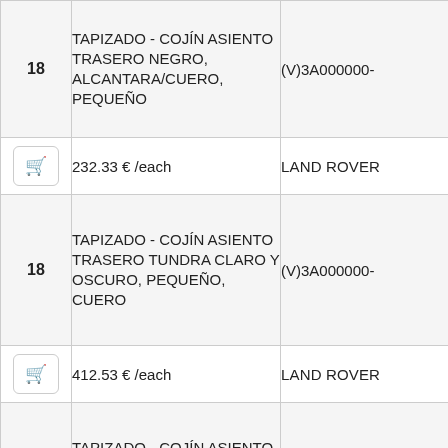| Qty | Description | Code | Cart | Price | Brand |
| --- | --- | --- | --- | --- | --- |
| 18 | TAPIZADO - COJÍN ASIENTO TRASERO NEGRO, ALCANTARA/CUERO, PEQUEÑO | (V)3A000000- |  |  |  |
|  |  |  | 🛒 | 232.33 € /each | LAND ROVER |
| 18 | TAPIZADO - COJÍN ASIENTO TRASERO TUNDRA CLARO Y OSCURO, PEQUEÑO, CUERO | (V)3A000000- |  |  |  |
|  |  |  | 🛒 | 412.53 € /each | LAND ROVER |
| 18 | TAPIZADO - COJÍN ASIENTO TRASERO ALPACA Y NEGRO, PEQUEÑO, CUERO | (V)3A000000- |  |  |  |
|  |  |  | 🛒 | 412.53 € /each | LAND ROVER |